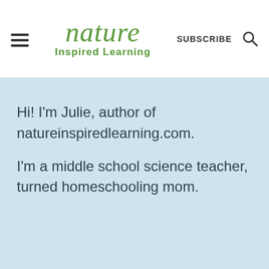nature Inspired Learning
Hi! I'm Julie, author of natureinspiredlearning.com.
I'm a middle school science teacher, turned homeschooling mom.